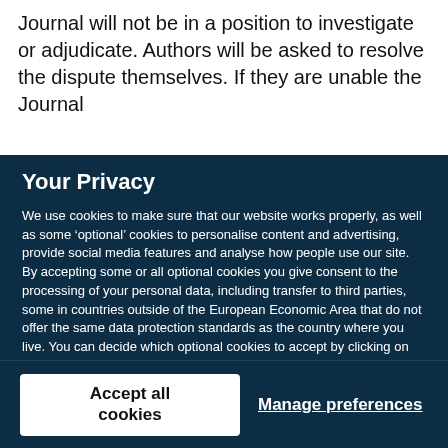Journal will not be in a position to investigate or adjudicate. Authors will be asked to resolve the dispute themselves. If they are unable the Journal
Your Privacy
We use cookies to make sure that our website works properly, as well as some ‘optional’ cookies to personalise content and advertising, provide social media features and analyse how people use our site. By accepting some or all optional cookies you give consent to the processing of your personal data, including transfer to third parties, some in countries outside of the European Economic Area that do not offer the same data protection standards as the country where you live. You can decide which optional cookies to accept by clicking on ‘Manage Settings’, where you can also find more information about how your personal data is processed. Further information can be found in our privacy policy.
Accept all cookies
Manage preferences